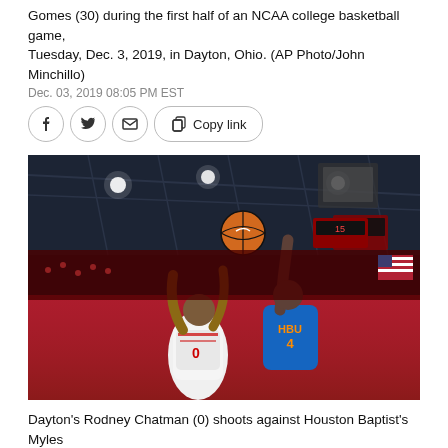Gomes (30) during the first half of an NCAA college basketball game, Tuesday, Dec. 3, 2019, in Dayton, Ohio. (AP Photo/John Minchillo)
Dec. 03, 2019 08:05 PM EST
[Figure (photo): Basketball game action photo: Dayton's Rodney Chatman (0) in white uniform shoots against Houston Baptist's Myles Gomes (4) in blue HBU uniform, reaching to block the layup attempt. Indoor arena with dark ceiling, crowd visible.]
Dayton's Rodney Chatman (0) shoots against Houston Baptist's Myles